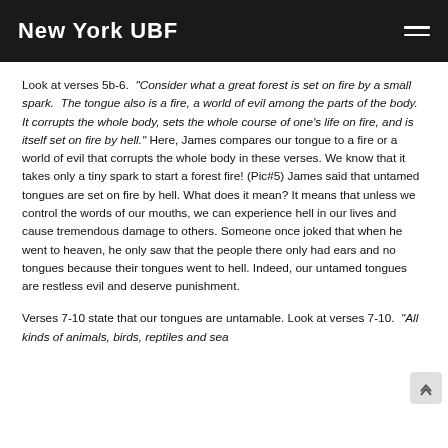New York UBF
Look at verses 5b-6. "Consider what a great forest is set on fire by a small spark. The tongue also is a fire, a world of evil among the parts of the body. It corrupts the whole body, sets the whole course of one's life on fire, and is itself set on fire by hell." Here, James compares our tongue to a fire or a world of evil that corrupts the whole body in these verses. We know that it takes only a tiny spark to start a forest fire! (Pic#5) James said that untamed tongues are set on fire by hell. What does it mean? It means that unless we control the words of our mouths, we can experience hell in our lives and cause tremendous damage to others. Someone once joked that when he went to heaven, he only saw that the people there only had ears and no tongues because their tongues went to hell. Indeed, our untamed tongues are restless evil and deserve punishment.
Verses 7-10 state that our tongues are untamable. Look at verses 7-10. "All kinds of animals, birds, reptiles and sea